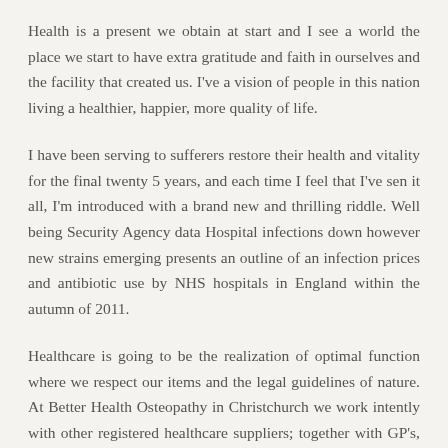Health is a present we obtain at start and I see a world the place we start to have extra gratitude and faith in ourselves and the facility that created us. I've a vision of people in this nation living a healthier, happier, more quality of life.
I have been serving to sufferers restore their health and vitality for the final twenty 5 years, and each time I feel that I've sen it all, I'm introduced with a brand new and thrilling riddle. Well being Security Agency data Hospital infections down however new strains emerging presents an outline of an infection prices and antibiotic use by NHS hospitals in England within the autumn of 2011.
Healthcare is going to be the realization of optimal function where we respect our items and the legal guidelines of nature. At Better Health Osteopathy in Christchurch we work intently with other registered healthcare suppliers; together with GP's, surgeons, midwives, counsellors and more, with a purpose to